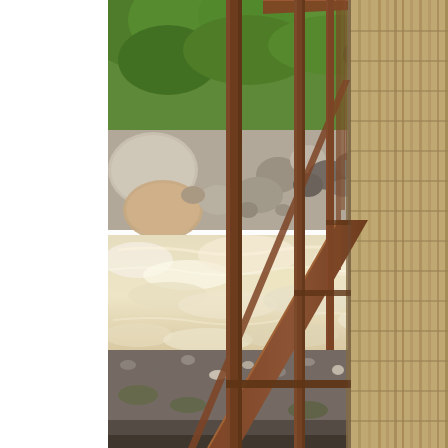[Figure (photo): A wooden suspension bridge with rusty metal railings and vertical posts viewed from the side, overlooking a turbulent milky-white river with large boulders and green shrubs on the far bank. The bridge deck is made of weathered wooden planks. The river below is fast-flowing and pale yellowish-white, surrounded by rounded grey and beige rocks and stones. Lush green vegetation is visible in the background.]